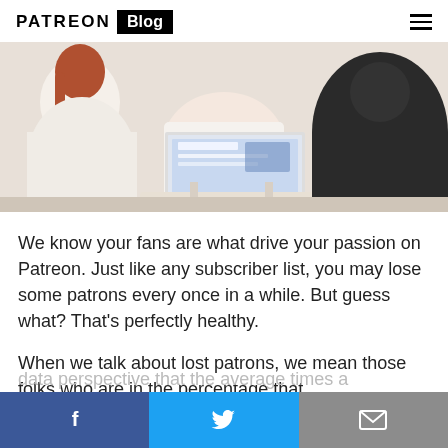PATREON Blog
[Figure (photo): Two people sitting at a white table, one using a laptop, photographed from behind in a bright office/cafe setting.]
We know your fans are what drive your passion on Patreon. Just like any subscriber list, you may lose some patrons every once in a while. But guess what? That's perfectly healthy.
When we talk about lost patrons, we mean those folks who are in the percentage that
data perspective that the average times a